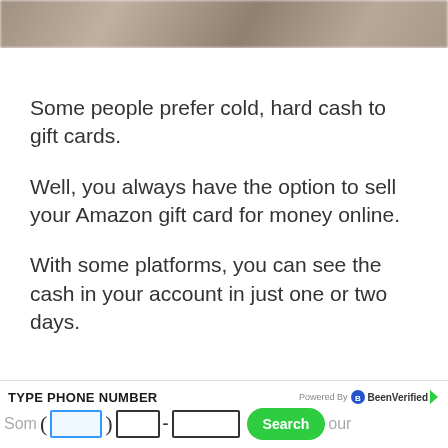[Figure (photo): Cropped photo showing a blurred background with hand holding a phone, partially visible at top of page]
Some people prefer cold, hard cash to gift cards.
Well, you always have the option to sell your Amazon gift card for money online.
With some platforms, you can see the cash in your account in just one or two days.
[Figure (screenshot): BeenVerified advertisement banner: TYPE PHONE NUMBER with area code, prefix, and number input boxes and a green Search button]